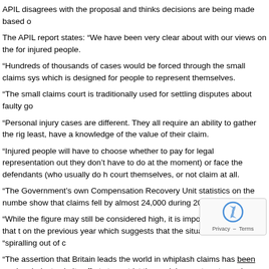APIL disagrees with the proposal and thinks decisions are being made based o...
The APIL report states: “We have been very clear about with our views on the... for injured people.
“Hundreds of thousands of cases would be forced through the small claims sys... which is designed for people to represent themselves.
“The small claims court is traditionally used for settling disputes about faulty go...
“Personal injury cases are different. They all require an ability to gather the rig... least, have a knowledge of the value of their claim.
“Injured people will have to choose whether to pay for legal representation out... they don’t have to do at the moment) or face the defendants (who usually do h... court themselves, or not claim at all.
“The Government’s own Compensation Recovery Unit statistics on the numbe... show that claims fell by almost 24,000 during 2011/2012.
“While the figure may still be considered high, it is important to recognise that t... on the previous year which suggests that the situation is not “spiralling out of c...
“The assertion that Britain leads the world in whiplash claims has been made p... industry, in its efforts to restrict these claims, cut costs, and increa... shareholders. It is extremely disappointing that the Government a... argument which is based entirely on an outdated, inaccurate and l...
The APIL has also suggested a number of steps which could be taken to...